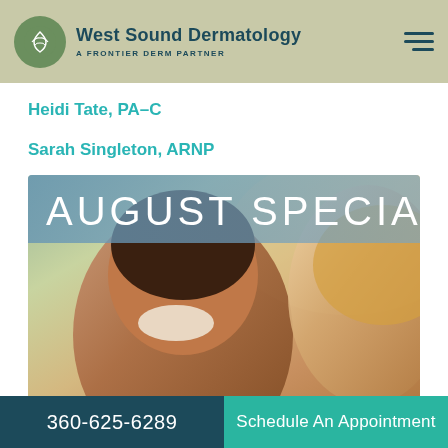West Sound Dermatology — A FRONTIER DERM PARTNER
Heidi Tate, PA-C
Sarah Singleton, ARNP
[Figure (photo): August Specials promotional image showing two smiling women outdoors with a light blue banner overlay reading 'AUGUST SPECIALS']
360-625-6289 | Schedule An Appointment